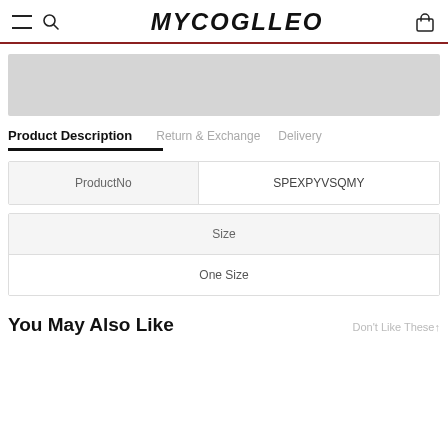MYCOGLLEO
[Figure (other): Gray placeholder banner image]
Product Description | Return & Exchange | Delivery
| ProductNo | SPEXPYVSQMY |
| --- | --- |
| Size |
| --- |
| One Size |
You May Also Like
Don't Like These